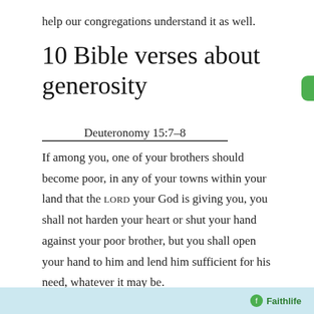help our congregations understand it as well.
10 Bible verses about generosity
Deuteronomy 15:7–8
If among you, one of your brothers should become poor, in any of your towns within your land that the LORD your God is giving you, you shall not harden your heart or shut your hand against your poor brother, but you shall open your hand to him and lend him sufficient for his need, whatever it may be.
Proverbs 19:17
Whoever is generous to the poor lends to the LORD, and he will repay him for his deed.
[Figure (screenshot): Bottom banner with Faithlife logo and branding on a light blue background]